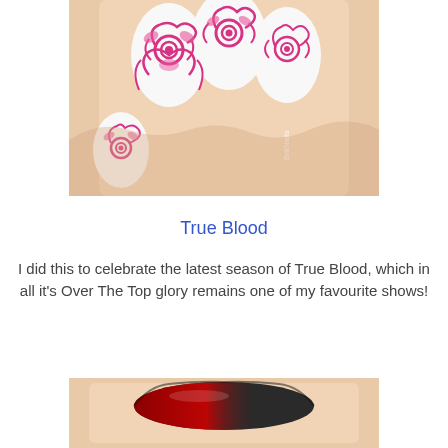[Figure (photo): Close-up photo of a hand with white nails decorated with pink rose stamping nail art, watermark 'BritNails' visible]
True Blood
I did this to celebrate the latest season of True Blood, which in all it's Over The Top glory remains one of my favourite shows!
[Figure (photo): Close-up photo of a finger nail with dark grey/black and red gradient nail art]